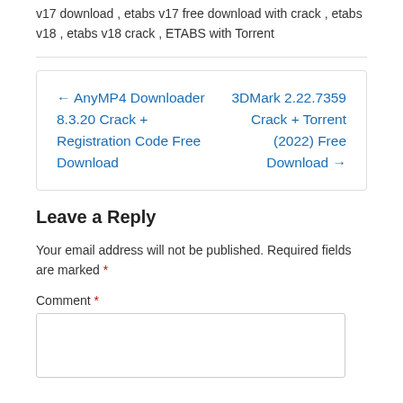v17 download , etabs v17 free download with crack , etabs v18 ,  etabs v18 crack ,  ETABS with Torrent
← AnyMP4 Downloader 8.3.20 Crack + Registration Code Free Download | 3DMark 2.22.7359 Crack + Torrent (2022) Free Download →
Leave a Reply
Your email address will not be published. Required fields are marked *
Comment *